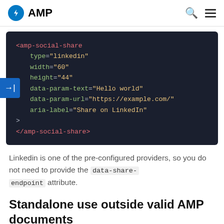AMP
[Figure (screenshot): Dark code block showing amp-social-share HTML element with attributes type=linkedin, width=60, height=44, data-param-text=Hello world, data-param-url=https://example.com/, aria-label=Share on LinkedIn]
Linkedin is one of the pre-configured providers, so you do not need to provide the data-share-endpoint attribute.
Standalone use outside valid AMP documents